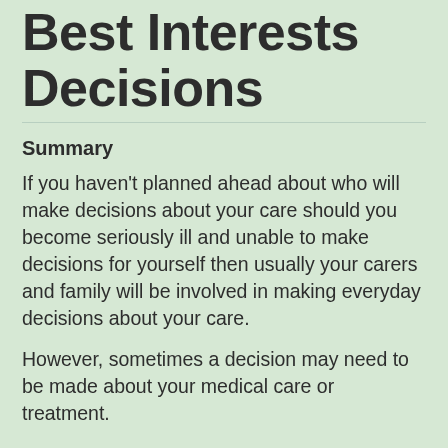Best Interests Decisions
Summary
If you haven't planned ahead about who will make decisions about your care should you become seriously ill and unable to make decisions for yourself then usually your carers and family will be involved in making everyday decisions about your care.
However, sometimes a decision may need to be made about your medical care or treatment.